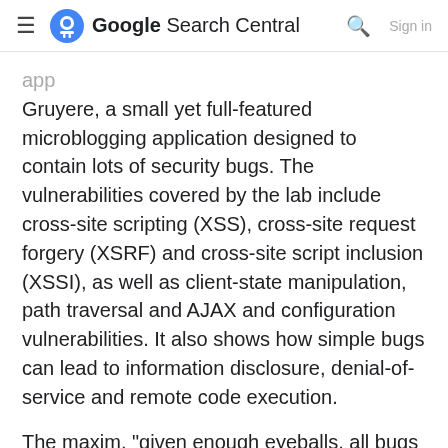≡ Google Search Central 🔍 Sign in
Gruyere, a small yet full-featured microblogging application designed to contain lots of security bugs. The vulnerabilities covered by the lab include cross-site scripting (XSS), cross-site request forgery (XSRF) and cross-site script inclusion (XSSI), as well as client-state manipulation, path traversal and AJAX and configuration vulnerabilities. It also shows how simple bugs can lead to information disclosure, denial-of-service and remote code execution.
The maxim, "given enough eyeballs, all bugs are shallow" is only true if the eyeballs know what to look for. To that end, the security bugs in Gruyere are real bugs—just like those in many other applications. The Gruyere source code is published under a Creative Commons license and is available for use in whitebox hacking exercises or in computer science classes covering security, software